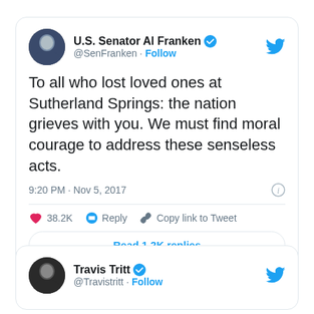[Figure (screenshot): Tweet card from U.S. Senator Al Franken (@SenFranken) with verified badge and Follow button. Tweet text: 'To all who lost loved ones at Sutherland Springs: the nation grieves with you. We must find moral courage to address these senseless acts.' Posted at 9:20 PM · Nov 5, 2017. 38.2K likes, Reply, Copy link to Tweet actions, and Read 1.2K replies button.]
[Figure (screenshot): Partial tweet card from Travis Tritt (@Travistritt) with verified badge and Follow button. Card is cut off at bottom of page.]